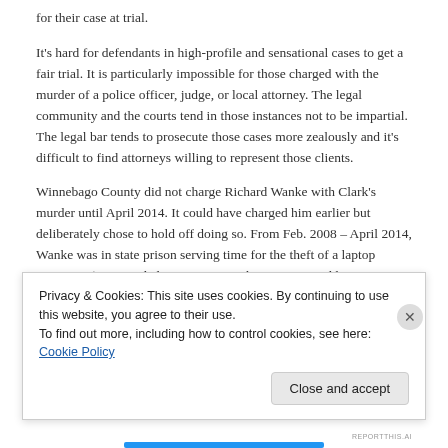for their case at trial.
It's hard for defendants in high-profile and sensational cases to get a fair trial. It is particularly impossible for those charged with the murder of a police officer, judge, or local attorney. The legal community and the courts tend in those instances not to be impartial. The legal bar tends to prosecute those cases more zealously and it's difficult to find attorneys willing to represent those clients.
Winnebago County did not charge Richard Wanke with Clark's murder until April 2014. It could have charged him earlier but deliberately chose to hold off doing so. From Feb. 2008 – April 2014, Wanke was in state prison serving time for the theft of a laptop computer (an extended-term sentence the state ensured he got in 2008), and the State took it's
Privacy & Cookies: This site uses cookies. By continuing to use this website, you agree to their use.
To find out more, including how to control cookies, see here: Cookie Policy
Close and accept